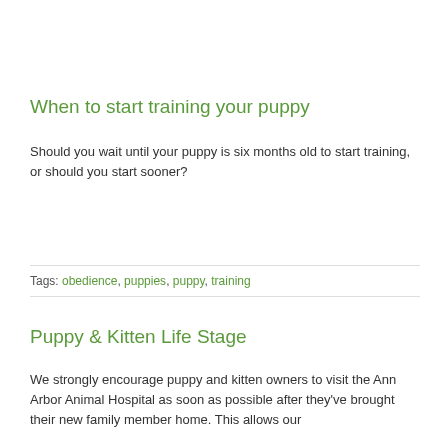When to start training your puppy
Should you wait until your puppy is six months old to start training, or should you start sooner?
Tags: obedience, puppies, puppy, training
Puppy & Kitten Life Stage
We strongly encourage puppy and kitten owners to visit the Ann Arbor Animal Hospital as soon as possible after they've brought their new family member home. This allows our